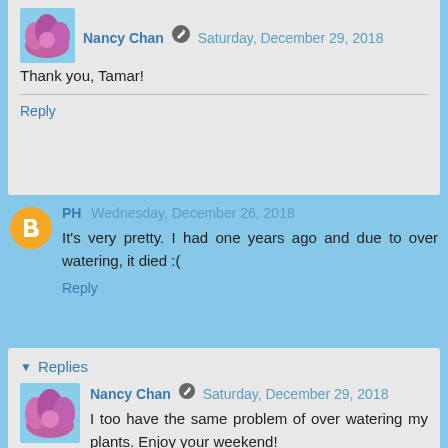Nancy Chan · Saturday, December 29, 2018
Thank you, Tamar!
Reply
PH Wednesday, December 26, 2018
It's very pretty. I had one years ago and due to over watering, it died :(
Reply
▼ Replies
Nancy Chan · Saturday, December 29, 2018
I too have the same problem of over watering my plants. Enjoy your weekend!
Reply